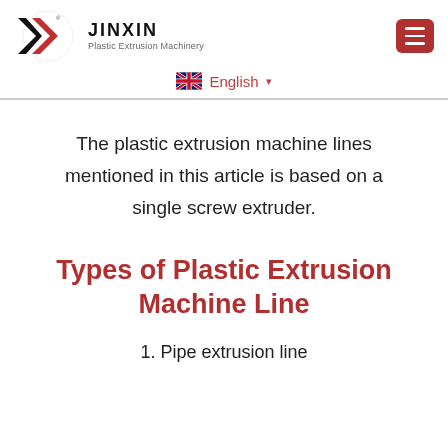[Figure (logo): Jinxin Plastic Extrusion Machinery logo with stylized Y/Z red and black icon, brand name JINXIN in bold, and tagline 'Plastic Extrusion Machinery']
English ▾
Types of Plastic Extrusion Machine Line
The plastic extrusion machine lines mentioned in this article is based on a single screw extruder.
1. Pipe extrusion line